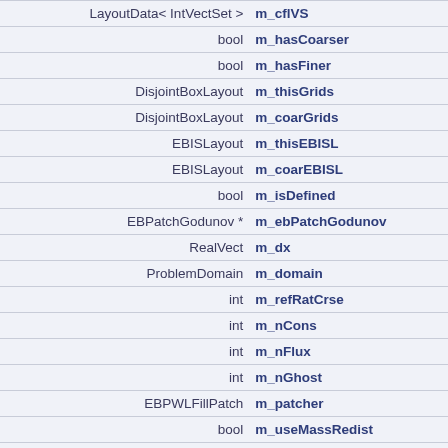| Type | Member |
| --- | --- |
| LayoutData< IntVectSet > | m_cflVS |
| bool | m_hasCoarser |
| bool | m_hasFiner |
| DisjointBoxLayout | m_thisGrids |
| DisjointBoxLayout | m_coarGrids |
| EBISLayout | m_thisEBISL |
| EBISLayout | m_coarEBISL |
| bool | m_isDefined |
| EBPatchGodunov * | m_ebPatchGodunov |
| RealVect | m_dx |
| ProblemDomain | m_domain |
| int | m_refRatCrse |
| int | m_nCons |
| int | m_nFlux |
| int | m_nGhost |
| EBPWLFillPatch | m_patcher |
| bool | m_useMassRedist |
| EBLevelRedist | m_ebLevelRedist |